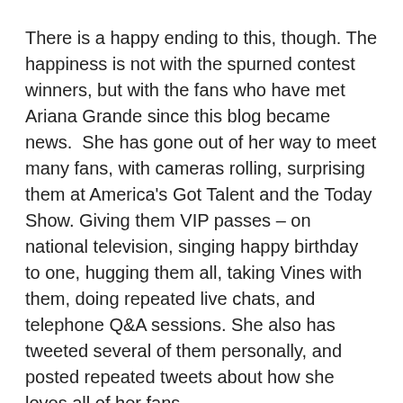There is a happy ending to this, though. The happiness is not with the spurned contest winners, but with the fans who have met Ariana Grande since this blog became news.  She has gone out of her way to meet many fans, with cameras rolling, surprising them at America's Got Talent and the Today Show. Giving them VIP passes – on national television, singing happy birthday to one, hugging them all, taking Vines with them, doing repeated live chats, and telephone Q&A sessions. She also has tweeted several of them personally, and posted repeated tweets about how she loves all of her fans.
The ones who earned a meeting with her through difficult contest entries, and follow up phone interviews, have received none of that.